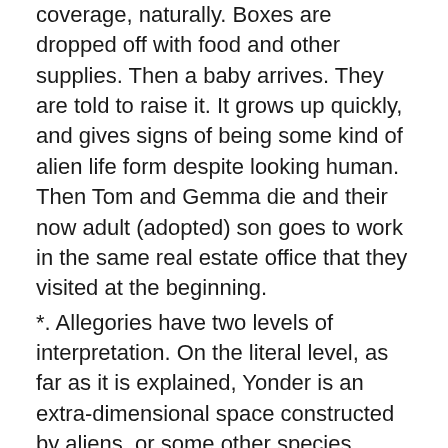coverage, naturally. Boxes are dropped off with food and other supplies. Then a baby arrives. They are told to raise it. It grows up quickly, and gives signs of being some kind of alien life form despite looking human. Then Tom and Gemma die and their now adult (adopted) son goes to work in the same real estate office that they visited at the beginning.
*. Allegories have two levels of interpretation. On the literal level, as far as it is explained, Yonder is an extra-dimensional space constructed by aliens, or some other species native to Earth but unknown to us, whose purpose is to force humans to raise Yonder young.
*. Just on the literal level my basic problem is the same one I have with most such alien movies, or movies involving supernatural creatures like devils or demons. If these other beings are so smart/technologically advanced/powerful, then why are they wasting their time